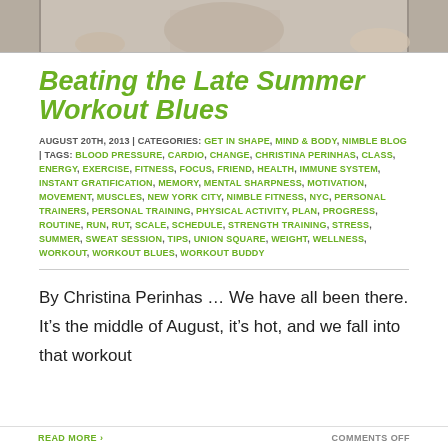[Figure (photo): Cropped photo strip showing a person in workout/fitness setting, partially visible at top of page]
Beating the Late Summer Workout Blues
AUGUST 20TH, 2013 | CATEGORIES: GET IN SHAPE, MIND & BODY, NIMBLE BLOG | TAGS: BLOOD PRESSURE, CARDIO, CHANGE, CHRISTINA PERINHAS, CLASS, ENERGY, EXERCISE, FITNESS, FOCUS, FRIEND, HEALTH, IMMUNE SYSTEM, INSTANT GRATIFICATION, MEMORY, MENTAL SHARPNESS, MOTIVATION, MOVEMENT, MUSCLES, NEW YORK CITY, NIMBLE FITNESS, NYC, PERSONAL TRAINERS, PERSONAL TRAINING, PHYSICAL ACTIVITY, PLAN, PROGRESS, ROUTINE, RUN, RUT, SCALE, SCHEDULE, STRENGTH TRAINING, STRESS, SUMMER, SWEAT SESSION, TIPS, UNION SQUARE, WEIGHT, WELLNESS, WORKOUT, WORKOUT BLUES, WORKOUT BUDDY
By Christina Perinhas … We have all been there. It’s the middle of August, it’s hot, and we fall into that workout
READ MORE ›
COMMENTS OFF